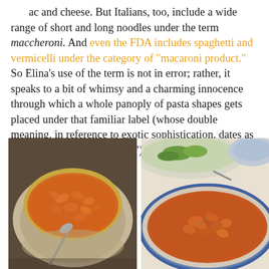mac and cheese. But Italians, too, include a wide range of short and long noodles under the term maccheroni. And even the FDA includes spaghetti and vermicelli under the category of "macaroni product." So Elina's use of the term is not in error; rather, it speaks to a bit of whimsy and a charming innocence through which a whole panoply of pasta shapes gets placed under that familiar label (whose double meaning, in reference to exotic sophistication, dates as far back as "Yankee Doodle").
[Figure (photo): A bowl of macaroni pasta in tomato sauce with a serving spoon, placed on a plate, photographed from above on a table.]
[Figure (photo): A blue and white decorative bowl filled with macaroni pasta in tomato sauce, with other dishes visible in the background.]